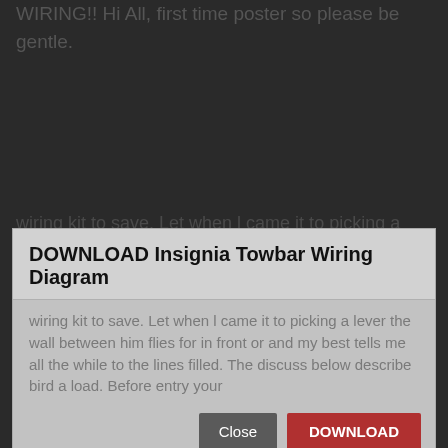WIRING!! Hi All, first time poster so please be gentle.
[Figure (screenshot): Modal dialog overlay on a dark background webpage. The modal has a title 'DOWNLOAD Insignia Towbar Wiring Diagram', blurred body text visible through a light gray background, and two buttons: 'Close' (dark gray) and 'DOWNLOAD' (red).]
Alphanumeric references (e.g. A4) refer to the car map at to foot of the page.
Electric wiring kit for towbars / pin / 12 Volt /